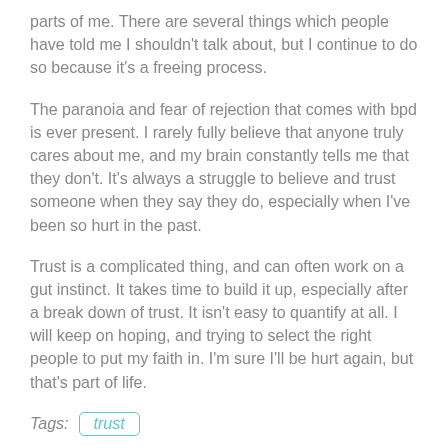parts of me. There are several things which people have told me I shouldn't talk about, but I continue to do so because it's a freeing process.
The paranoia and fear of rejection that comes with bpd is ever present. I rarely fully believe that anyone truly cares about me, and my brain constantly tells me that they don't. It's always a struggle to believe and trust someone when they say they do, especially when I've been so hurt in the past.
Trust is a complicated thing, and can often work on a gut instinct. It takes time to build it up, especially after a break down of trust. It isn't easy to quantify at all. I will keep on hoping, and trying to select the right people to put my faith in. I'm sure I'll be hurt again, but that's part of life.
Tags: trust